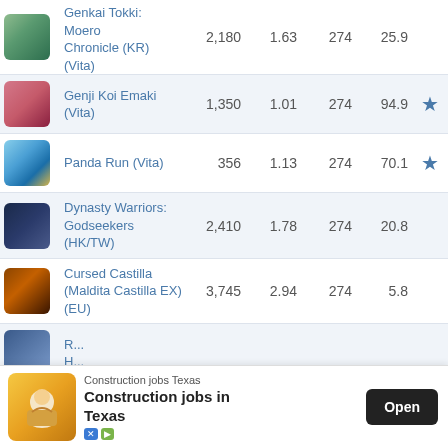| Image | Game | Score | Ratio | Trophies | Pct | Star |
| --- | --- | --- | --- | --- | --- | --- |
| [img] | Genkai Tokki: Moero Chronicle (KR) (Vita) | 2,180 | 1.63 | 274 | 25.9 |  |
| [img] | Genji Koi Emaki (Vita) | 1,350 | 1.01 | 274 | 94.9 | ★ |
| [img] | Panda Run (Vita) | 356 | 1.13 | 274 | 70.1 | ★ |
| [img] | Dynasty Warriors: Godseekers (HK/TW) | 2,410 | 1.78 | 274 | 20.8 |  |
| [img] | Cursed Castilla (Maldita Castilla EX) (EU) | 3,745 | 2.94 | 274 | 5.8 |  |
| [img] | R... H... |  |  |  |  |  |
[Figure (screenshot): Mobile advertisement banner: Construction jobs Texas - Construction jobs in Texas, with Open button]